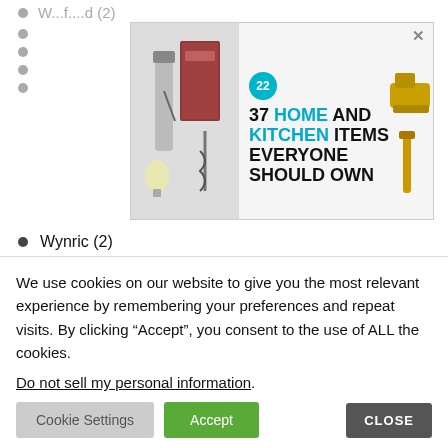Wynric (2)
Wynsi (2)
Wynstan
[Figure (screenshot): Advertisement banner: '37 HOME AND KITCHEN ITEMS EVERYONE SHOULD OWN' with kitchen product images and a '22' logo badge]
Y
We use cookies on our website to give you the most relevant experience by remembering your preferences and repeat visits. By clicking “Accept”, you consent to the use of ALL the cookies.
Do not sell my personal information.
Cookie Settings  Accept  CLOSE